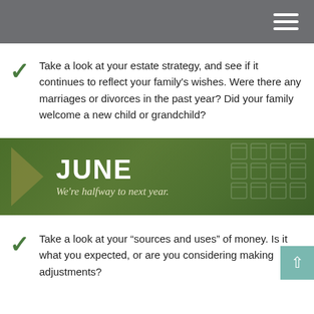Take a look at your estate strategy, and see if it continues to reflect your family's wishes. Were there any marriages or divorces in the past year? Did your family welcome a new child or grandchild?
[Figure (infographic): Green banner with arrow chevron on the left, large white bold text JUNE, italic subtitle We're halfway to next year., and faint calendar icons on the right background]
Take a look at your “sources and uses” of money. Is it what you expected, or are you considering making adjustments?